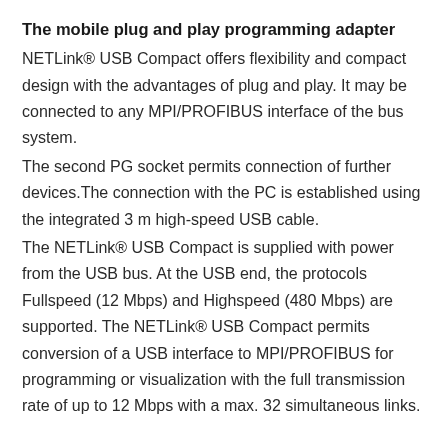The mobile plug and play programming adapter
NETLink® USB Compact offers flexibility and compact design with the advantages of plug and play. It may be connected to any MPI/PROFIBUS interface of the bus system.
The second PG socket permits connection of further devices.The connection with the PC is established using the integrated 3 m high-speed USB cable.
The NETLink® USB Compact is supplied with power from the USB bus. At the USB end, the protocols Fullspeed (12 Mbps) and Highspeed (480 Mbps) are supported. The NETLink® USB Compact permits conversion of a USB interface to MPI/PROFIBUS for programming or visualization with the full transmission rate of up to 12 Mbps with a max. 32 simultaneous links.